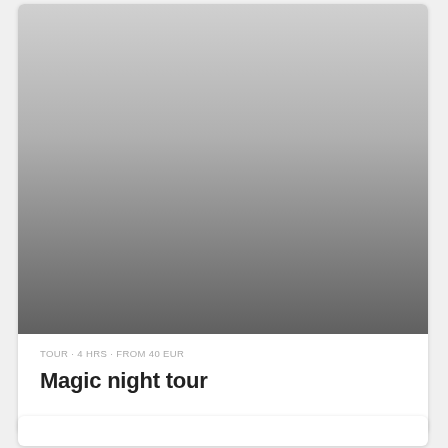[Figure (photo): A large rectangular image placeholder with a gradient from light gray at the top to dark gray at the bottom, representing a night tour photo.]
TOUR · 4 HRS · FROM 40 EUR
Magic night tour